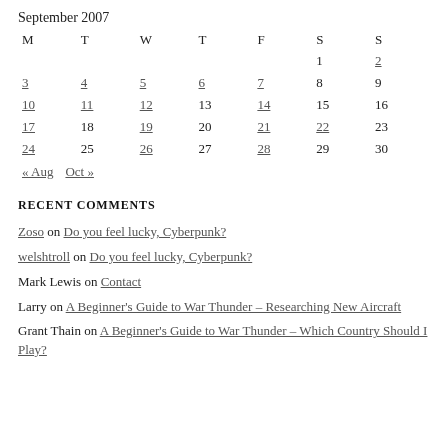| M | T | W | T | F | S | S |
| --- | --- | --- | --- | --- | --- | --- |
|  |  |  |  |  | 1 | 2 |
| 3 | 4 | 5 | 6 | 7 | 8 | 9 |
| 10 | 11 | 12 | 13 | 14 | 15 | 16 |
| 17 | 18 | 19 | 20 | 21 | 22 | 23 |
| 24 | 25 | 26 | 27 | 28 | 29 | 30 |
« Aug   Oct »
RECENT COMMENTS
Zoso on Do you feel lucky, Cyberpunk?
welshtroll on Do you feel lucky, Cyberpunk?
Mark Lewis on Contact
Larry on A Beginner's Guide to War Thunder – Researching New Aircraft
Grant Thain on A Beginner's Guide to War Thunder – Which Country Should I Play?